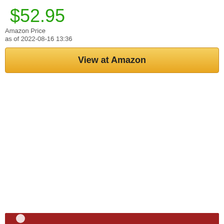$52.95
Amazon Price
as of 2022-08-16 13:36
[Figure (other): Yellow 'View at Amazon' button with gradient background and dark border]
[Figure (other): Red bar at bottom of page with small white circular icon]